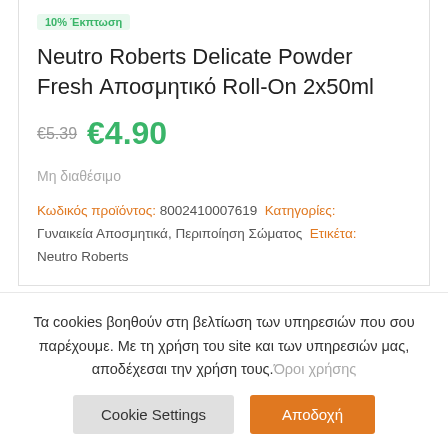Neutro Roberts Delicate Powder Fresh Αποσμητικό Roll-On 2x50ml
€5.39 €4.90
Μη διαθέσιμο
Κωδικός προϊόντος: 8002410007619 Κατηγορίες: Γυναικεία Αποσμητικά, Περιποίηση Σώματος Ετικέτα: Neutro Roberts
Τα cookies βοηθούν στη βελτίωση των υπηρεσιών που σου παρέχουμε. Με τη χρήση του site και των υπηρεσιών μας, αποδέχεσαι την χρήση τους. Όροι χρήσης
Cookie Settings  Αποδοχή